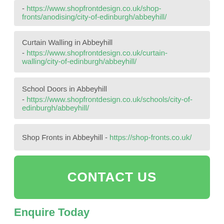- https://www.shopfrontdesign.co.uk/shop-fronts/anodising/city-of-edinburgh/abbeyhill/
Curtain Walling in Abbeyhill - https://www.shopfrontdesign.co.uk/curtain-walling/city-of-edinburgh/abbeyhill/
School Doors in Abbeyhill - https://www.shopfrontdesign.co.uk/schools/city-of-edinburgh/abbeyhill/
Shop Fronts in Abbeyhill - https://shop-fronts.co.uk/
CONTACT US
Enquire Today
If you want to completely revamp the front of your shop, we can help. Make sure you enquire today to receive the best shop front design in Abbeyhill EH7 5 at the greatest value